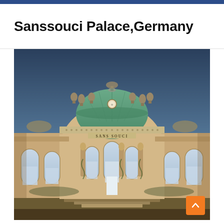Sanssouci Palace,Germany
[Figure (photo): Photograph of Sanssouci Palace in Germany, showing the ornate Baroque facade with a green copper dome, sculptural figures on the roofline, arched windows, and the inscription SANS SOUCI above the entrance. The building is yellow-beige stone under a dramatic blue-grey sky.]